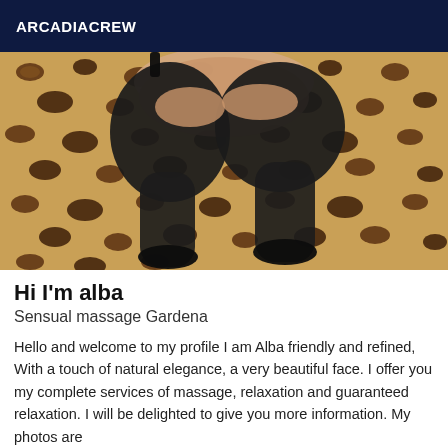ARCADIACREW
[Figure (photo): Photo of a person's legs wearing black stockings/tights and heels, posed on a leopard print fabric background]
Hi I'm alba
Sensual massage Gardena
Hello and welcome to my profile I am Alba friendly and refined, With a touch of natural elegance, a very beautiful face. I offer you my complete services of massage, relaxation and guaranteed relaxation. I will be delighted to give you more information. My photos are